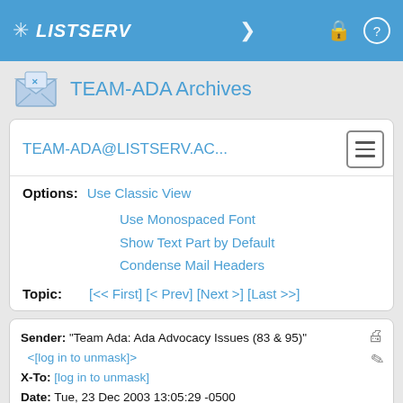LISTSERV
TEAM-ADA Archives
TEAM-ADA@LISTSERV.AC...
Options: Use Classic View
Use Monospaced Font
Show Text Part by Default
Condense Mail Headers
Topic: [<< First] [< Prev] [Next >] [Last >>]
Sender: "Team Ada: Ada Advocacy Issues (83 & 95)" <[log in to unmask]>
X-To: [log in to unmask]
Date: Tue, 23 Dec 2003 13:05:29 -0500
Reply-To: Mike Brenner <[log in to unmask]>
Subject: Re: Ada Programming Language
From: Mike Brenner <[log in to unmask]>